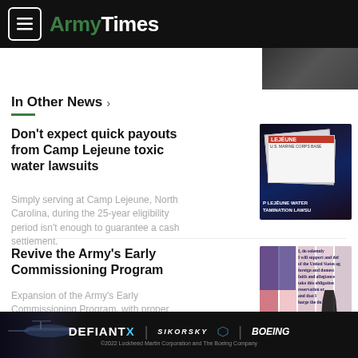ArmyTimes
[Figure (photo): Partial photo visible in top right corner, dark tones]
In Other News >
Don't expect quick payouts from Camp Lejeune toxic water lawsuits
Simply serving at Camp Lejeune, North Carolina, during the 25-year eligibility period isn't enough to guarantee a cash settlement.
[Figure (photo): Photo of Camp Lejeune water contamination lawsuit documents]
Revive the Army's Early Commissioning Program
Expansion of the Army's Early Commissioning Program, with proper oversight, could help recruiting shortfalls,…
[Figure (photo): Photo of a person taking an oath in front of an American flag with oath text overlay]
[Figure (photo): Advertisement banner: DEFIANT X, Sikorsky, Boeing. ©2022 Lockheed Martin Corporation and The Boeing Company]